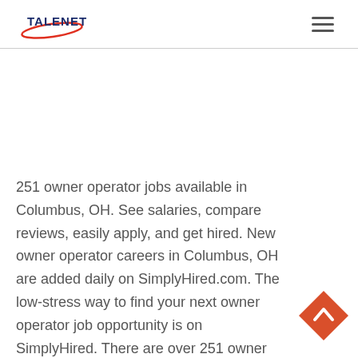TALENET
251 owner operator jobs available in Columbus, OH. See salaries, compare reviews, easily apply, and get hired. New owner operator careers in Columbus, OH are added daily on SimplyHired.com. The low-stress way to find your next owner operator job opportunity is on SimplyHired. There are over 251 owner operator careers in Columbus, OH waiting